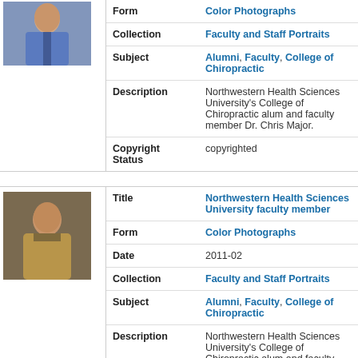[Figure (photo): Portrait photo of a man in blue shirt and tie (Dr. Chris Major)]
Form: Color Photographs
Collection: Faculty and Staff Portraits
Subject: Alumni, Faculty, College of Chiropractic
Description: Northwestern Health Sciences University's College of Chiropractic alum and faculty member Dr. Chris Major.
Copyright Status: copyrighted
[Figure (photo): Portrait photo of a man in tan jacket (Dr. Don Eggebrecht)]
Title: Northwestern Health Sciences University faculty member
Form: Color Photographs
Date: 2011-02
Collection: Faculty and Staff Portraits
Subject: Alumni, Faculty, College of Chiropractic
Description: Northwestern Health Sciences University's College of Chiropractic alum and faculty member Dr. Don Eggebrecht, 2011.